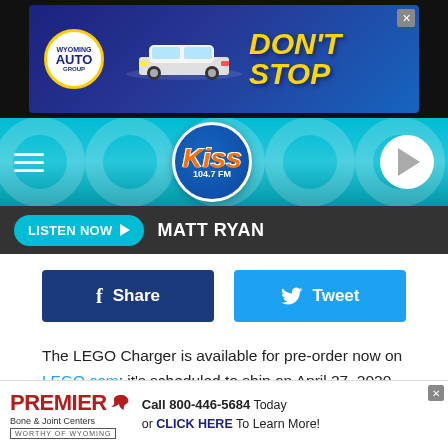[Figure (screenshot): Wyoming Auto Group advertisement banner with dark blue background, car image, and 'DON'T STOP' tagline in yellow text]
[Figure (logo): KISS 104.7 FM radio station logo on teal header with hamburger menu and play button]
LISTEN NOW ▶  MATT RYAN
Share
Tweet
The LEGO Charger is available for pre-order now on LEGO.com; it's scheduled to ship on April 27, 2020. The price tag isn't cheap: $99.99. On the other hand, putting this 1,000-piece monstrosity together might be a nice way to kill a few quarantined hours in relative peace. Just make sure you
[Figure (screenshot): Premier Bone & Joint Centers advertisement with phone number 800-446-5684 and click here link]